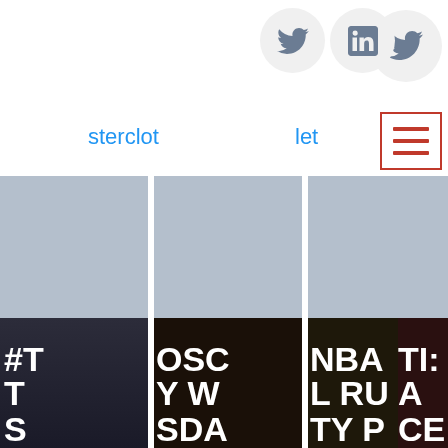[Figure (screenshot): Website screenshot showing social media icons (Twitter, LinkedIn), navigation links 'sterclot' and 'let' in blue, a red-bordered hamburger menu icon, and four image cards with dark photo backgrounds and bold white text overlays showing partial text: '#T... T... S...', 'OSC... Y W... SDA...', 'NBA... L RU... TY P...', 'TI: A... CE']